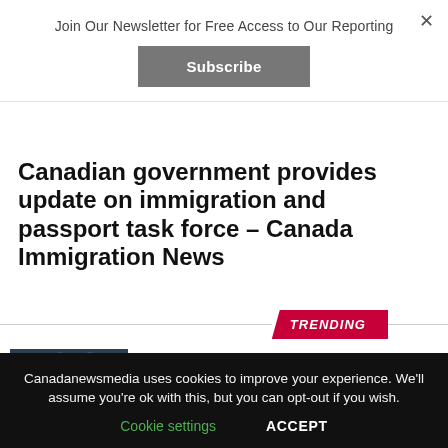Join Our Newsletter for Free Access to Our Reporting
Subscribe
Canadian government provides update on immigration and passport task force – Canada Immigration News
TRENDING
SPORTS / 23 hours ago
Czechia upsets U.S. in World Junior quarterfinals – TSN
Canadanewsmedia uses cookies to improve your experience. We'll assume you're ok with this, but you can opt-out if you wish.
Cookie settings
ACCEPT